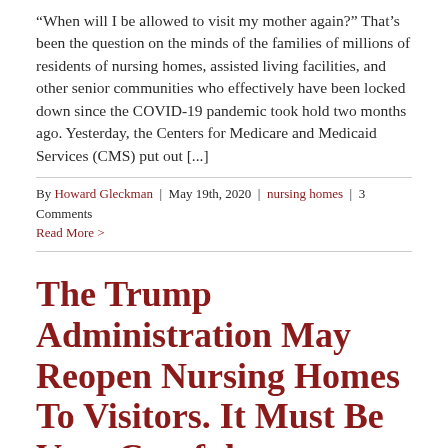“When will I be allowed to visit my mother again?” That’s been the question on the minds of the families of millions of residents of nursing homes, assisted living facilities, and other senior communities who effectively have been locked down since the COVID-19 pandemic took hold two months ago. Yesterday, the Centers for Medicare and Medicaid Services (CMS) put out [...]
By Howard Gleckman | May 19th, 2020 | nursing homes | 3 Comments
Read More >
The Trump Administration May Reopen Nursing Homes To Visitors. It Must Be Very Careful